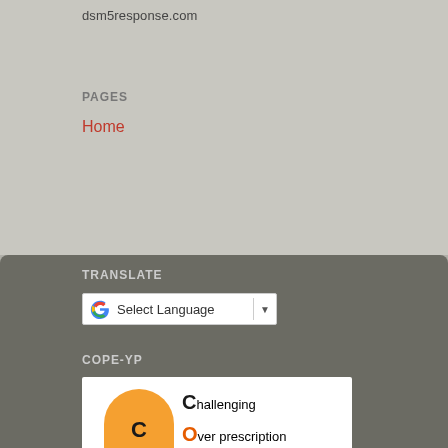dsm5response.com
PAGES
Home
TRANSLATE
[Figure (other): Google Translate widget with 'Select Language' dropdown]
COPE-YP
[Figure (infographic): COPE-YP logo: a pill capsule with letters C, O (orange top), P, E (red bottom) and a circle with Y over P. Text reads: Challenging Over prescription by Professionals in Education for Young People]